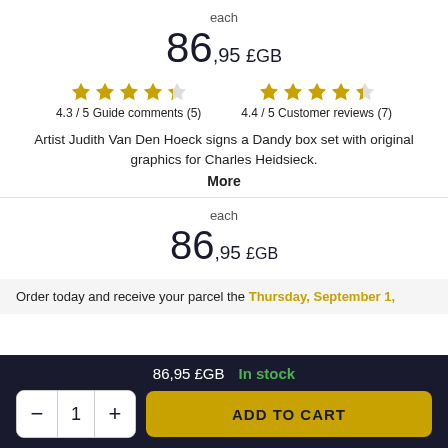each
86,95 £GB
4.3 / 5 Guide comments (5)
4.4 / 5 Customer reviews (7)
Artist Judith Van Den Hoeck signs a Dandy box set with original graphics for Charles Heidsieck.
More
each
86,95 £GB
Order today and receive your parcel the Thursday, September 1,
86,95 £GB  In stock
ADD TO CART